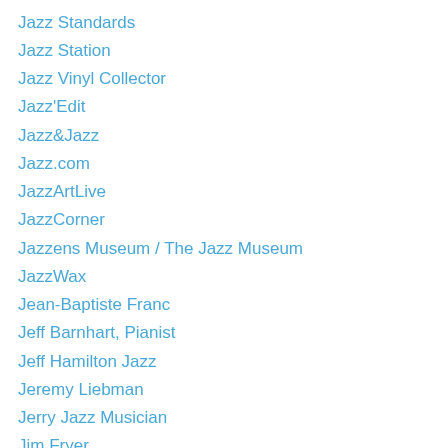Jazz Standards
Jazz Station
Jazz Vinyl Collector
Jazz'Edit
Jazz&Jazz
Jazz.com
JazzArtLive
JazzCorner
Jazzens Museum / The Jazz Museum
JazzWax
Jean-Baptiste Franc
Jeff Barnhart, Pianist
Jeff Hamilton Jazz
Jeremy Liebman
Jerry Jazz Musician
Jim Fryer
Jim Ketch
Jimmy Spero
Jinjoo Yoo
JOANNA STERNBERG